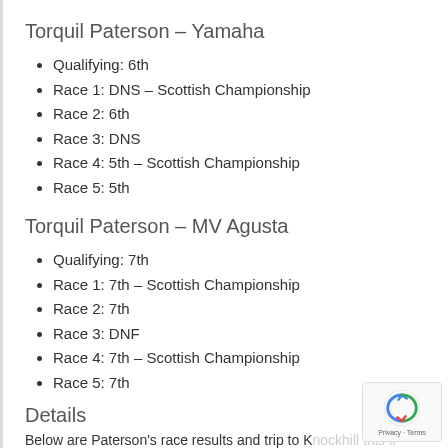Torquil Paterson – Yamaha
Qualifying: 6th
Race 1: DNS – Scottish Championship
Race 2: 6th
Race 3: DNS
Race 4: 5th – Scottish Championship
Race 5: 5th
Torquil Paterson – MV Agusta
Qualifying: 7th
Race 1: 7th – Scottish Championship
Race 2: 7th
Race 3: DNF
Race 4: 7th – Scottish Championship
Race 5: 7th
Details
Below are Paterson's race results and trip to Knockhill this time...